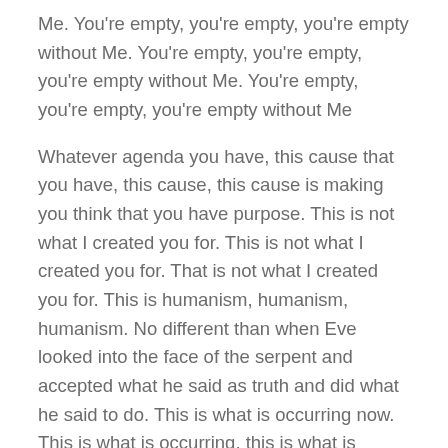Me. You're empty, you're empty, you're empty without Me. You're empty, you're empty, you're empty without Me. You're empty, you're empty, you're empty without Me
Whatever agenda you have, this cause that you have, this cause, this cause is making you think that you have purpose. This is not what I created you for. This is not what I created you for. That is not what I created you for. This is humanism, humanism, humanism. No different than when Eve looked into the face of the serpent and accepted what he said as truth and did what he said to do. This is what is occurring now. This is what is occurring, this is what is occurring, this is what is occurring.
If you are born of the Spirit, you are in the Davidic line and you will not, you will not, you will not, you will not, you will not accept this as